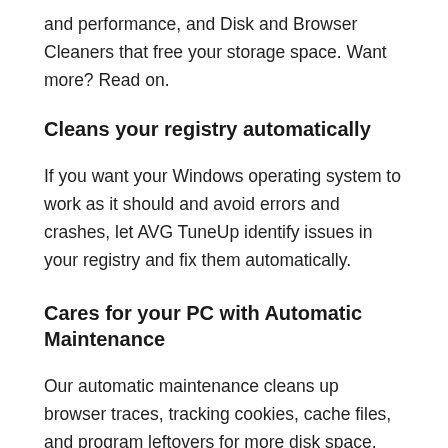and performance, and Disk and Browser Cleaners that free your storage space. Want more? Read on.
Cleans your registry automatically
If you want your Windows operating system to work as it should and avoid errors and crashes, let AVG TuneUp identify issues in your registry and fix them automatically.
Cares for your PC with Automatic Maintenance
Our automatic maintenance cleans up browser traces, tracking cookies, cache files, and program leftovers for more disk space.